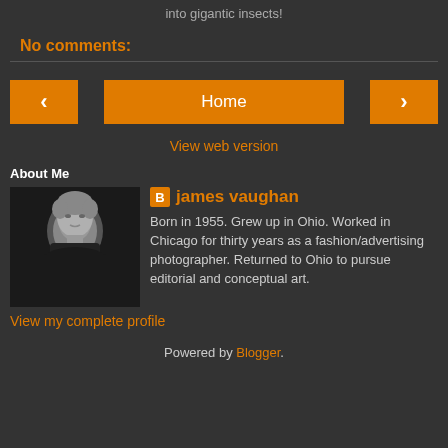into gigantic insects!
No comments:
Home
View web version
About Me
[Figure (photo): Black and white portrait photo of a man in a black turtleneck]
james vaughan
Born in 1955. Grew up in Ohio. Worked in Chicago for thirty years as a fashion/advertising photographer. Returned to Ohio to pursue editorial and conceptual art.
View my complete profile
Powered by Blogger.